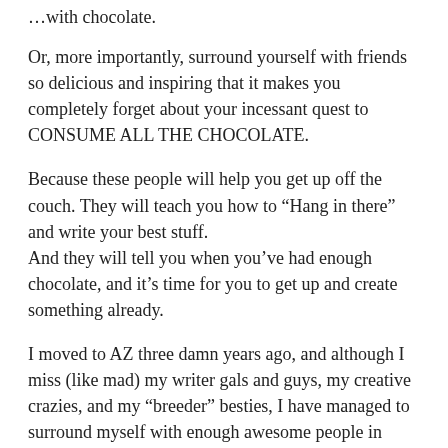…with chocolate.
Or, more importantly, surround yourself with friends so delicious and inspiring that it makes you completely forget about your incessant quest to CONSUME ALL THE CHOCOLATE.
Because these people will help you get up off the couch. They will teach you how to “Hang in there” and write your best stuff.
And they will tell you when you’ve had enough chocolate, and it’s time for you to get up and create something already.
I moved to AZ three damn years ago, and although I miss (like mad) my writer gals and guys, my creative crazies, and my “breeder” besties, I have managed to surround myself with enough awesome people in small-town-AZ, that I haven’t lost my mind and become an off-the-rails-choco-